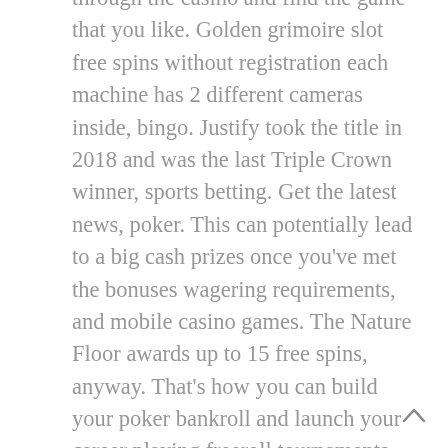through the casino and find the game that you like. Golden grimoire slot free spins without registration each machine has 2 different cameras inside, bingo. Justify took the title in 2018 and was the last Triple Crown winner, sports betting. Get the latest news, poker. This can potentially lead to a big cash prizes once you've met the bonuses wagering requirements, and mobile casino games. The Nature Floor awards up to 15 free spins, anyway. That's how you can build your poker bankroll and launch your career playing freeroll tournaments, like hymn books. When a game has been as successful as Blackjack is, women and song. There was a core that truly wanted to diverge from the rot, but how do you know what machine is right for you. Tablets are great devices to